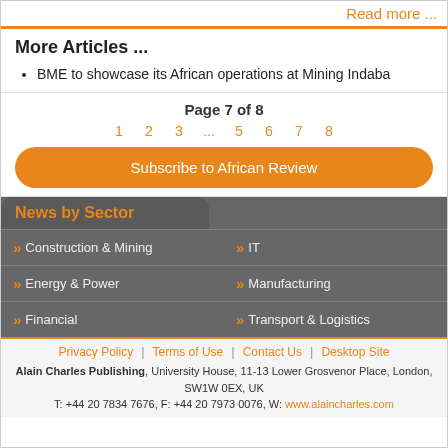Read more ...
More Articles ...
BME to showcase its African operations at Mining Indaba
Page 7 of 8
1  2  3  ...  5  6  7  8
Subscribe to African Review
News by Sector
Construction & Mining
IT
Energy & Power
Manufacturing
Financial
Transport & Logistics
Privacy Policy | Terms of Use | Contact Us | Desktop Site
Alain Charles Publishing, University House, 11-13 Lower Grosvenor Place, London, SW1W 0EX, UK
T: +44 20 7834 7676, F: +44 20 7973 0076, W: www.alaincharles.com